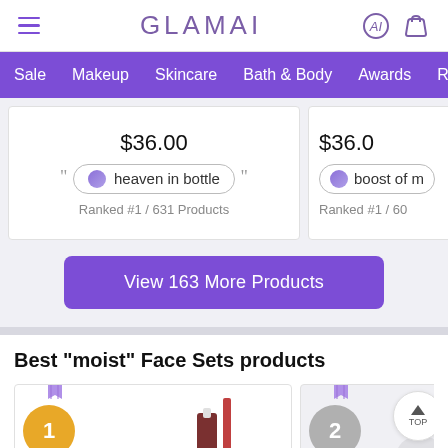GLAMAI
Sale  Makeup  Skincare  Bath & Body  Awards  Ranki
$36.00
heaven in bottle
Ranked #1 / 631 Products
$36.0
boost of m
Ranked #1 / 60
View 163 More Products
Best "moist" Face Sets products
ROSE INC
HUDA BE